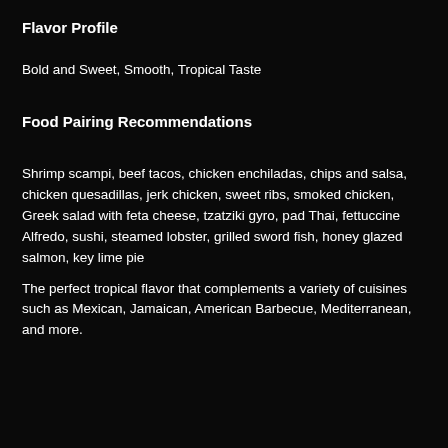Flavor Profile
Bold and Sweet, Smooth, Tropical Taste
Food Pairing Recommendations
Shrimp scampi, beef tacos, chicken enchiladas, chips and salsa, chicken quesadillas, jerk chicken, sweet ribs, smoked chicken, Greek salad with feta cheese, tzatziki gyro, pad Thai, fettuccine Alfredo, sushi, steamed lobster, grilled sword fish, honey glazed salmon, key lime pie
The perfect tropical flavor that complements a variety of cuisines such as Mexican, Jamaican, American Barbecue, Mediterranean, and more.